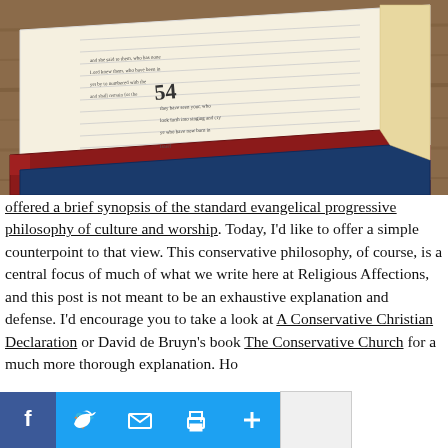[Figure (photo): Open Bible with red and blue covers resting on a wooden surface, showing a page with verse numbers including 54.]
offered a brief synopsis of the standard evangelical progressive philosophy of culture and worship. Today, I'd like to offer a simple counterpoint to that view. This conservative philosophy, of course, is a central focus of much of what we write here at Religious Affections, and this post is not meant to be an exhaustive explanation and defense. I'd encourage you to take a look at A Conservative Christian Declaration or David de Bruyn's book The Conservative Church for a much more thorough explanation. Ho...s...t...
[Figure (other): Social sharing toolbar with Facebook, Twitter, Email, Print, and Plus buttons, plus a share count box.]